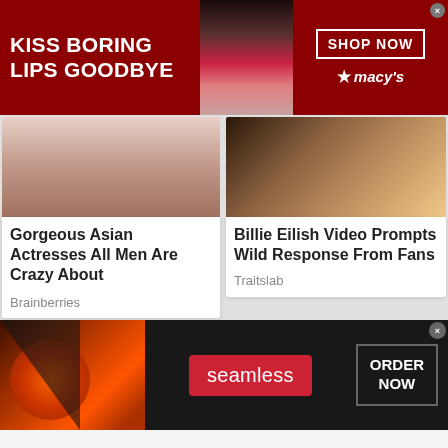[Figure (photo): Macy's advertisement banner: dark red background with white bold text 'KISS BORING LIPS GOODBYE', center photo of woman's face with red lipstick, right side has 'SHOP NOW' button and Macy's star logo]
[Figure (photo): Partial image of woman's face - chin and lips area visible]
Gorgeous Asian Actresses All Men Are Crazy About
Brainberries
[Figure (photo): Partial image showing golden/genie lamp on dark background]
Billie Eilish Video Prompts Wild Response From Fans
Traitslab
[Figure (photo): Man with tattoos doing a young girl's hair in a colorful room]
[Figure (photo): Woman with reddish-brown wavy hair holding her hand to her face, eyes closed, dark bokeh background]
[Figure (photo): Seamless food delivery advertisement: dark background with pizza image on left, red Seamless logo button in center, 'ORDER NOW' bordered button on right]